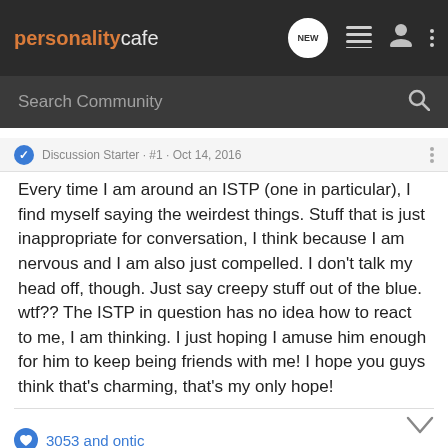personalitycafe
Search Community
Discussion Starter · #1 · Oct 14, 2016
Every time I am around an ISTP (one in particular), I find myself saying the weirdest things. Stuff that is just inappropriate for conversation, I think because I am nervous and I am also just compelled. I don't talk my head off, though. Just say creepy stuff out of the blue. wtf?? The ISTP in question has no idea how to react to me, I am thinking. I just hoping I amuse him enough for him to keep being friends with me! I hope you guys think that's charming, that's my only hope!
3053 and ontic